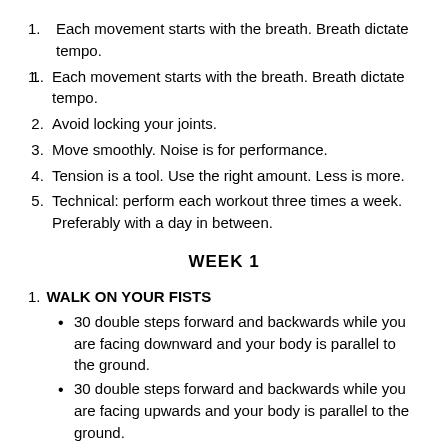Each movement starts with the breath. Breath dictate tempo.
Avoid locking your joints.
Move smoothly. Noise is for performance.
Tension is a tool. Use the right amount. Less is more.
Technical: perform each workout three times a week. Preferably with a day in between.
WEEK 1
WALK ON YOUR FISTS
30 double steps forward and backwards while you are facing downward and your body is parallel to the ground.
30 double steps forward and backwards while you are facing upwards and your body is parallel to the ground.
30 double steps side to side on the wall facing